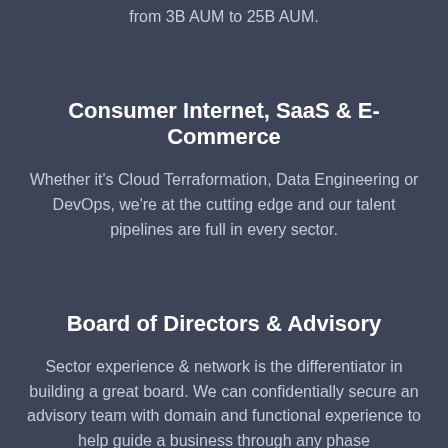from 3B AUM to 25B AUM.
Consumer Internet, SaaS & E-Commerce
Whether it's Cloud Terraformation, Data Engineering or DevOps, we're at the cutting edge and our talent pipelines are full in every sector.
Board of Directors & Advisory
Sector experience & network is the differentiator in building a great board. We can confidentially secure an advisory team with domain and functional experience to help guide a business through any phase